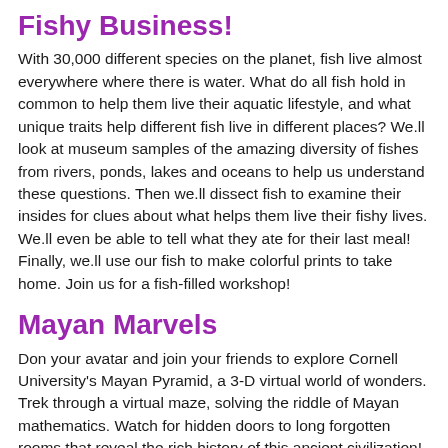Fishy Business!
With 30,000 different species on the planet, fish live almost everywhere where there is water. What do all fish hold in common to help them live their aquatic lifestyle, and what unique traits help different fish live in different places? We.ll look at museum samples of the amazing diversity of fishes from rivers, ponds, lakes and oceans to help us understand these questions. Then we.ll dissect fish to examine their insides for clues about what helps them live their fishy lives. We.ll even be able to tell what they ate for their last meal! Finally, we.ll use our fish to make colorful prints to take home. Join us for a fish-filled workshop!
Mayan Marvels
Don your avatar and join your friends to explore Cornell University's Mayan Pyramid, a 3-D virtual world of wonders. Trek through a virtual maze, solving the riddle of Mayan mathematics. Watch for hidden doors to long forgotten rooms that reveal the rich history of this ancient civilization!